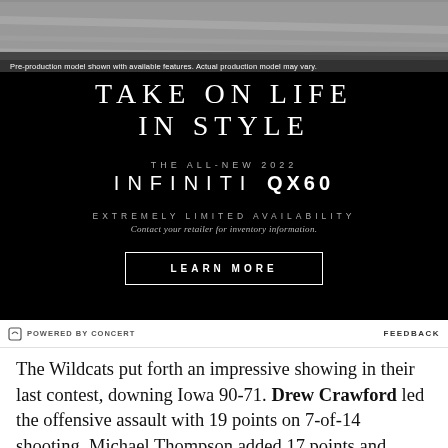[Figure (illustration): Infiniti QX60 advertisement on black background with headline 'TAKE ON LIFE IN STYLE', model name 'THE ALL-NEW 2022 INFINITI QX60', 'EXTREMELY LIMITED AVAILABILITY', 'Contact your retailer for inventory information.' and a LEARN MORE button. Top shows car image with caption 'Pre-production model shown with available features. Actual production model may vary.']
POWERED BY CONCERT   FEEDBACK
The Wildcats put forth an impressive showing in their last contest, downing Iowa 90-71. Drew Crawford led the offensive assault with 19 points on 7-of-14 shooting. Michael Thompson added 17 points and